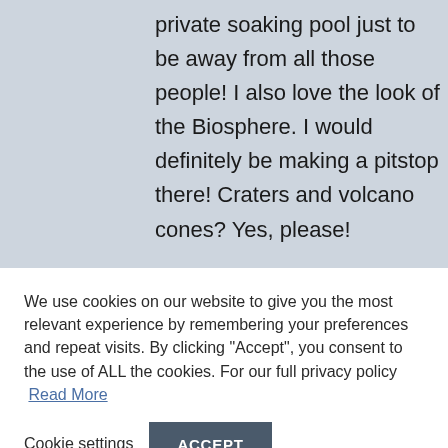private soaking pool just to be away from all those people! I also love the look of the Biosphere. I would definitely be making a pitstop there! Craters and volcano cones? Yes, please!
We use cookies on our website to give you the most relevant experience by remembering your preferences and repeat visits. By clicking "Accept", you consent to the use of ALL the cookies. For our full privacy policy  Read More
Cookie settings
ACCEPT